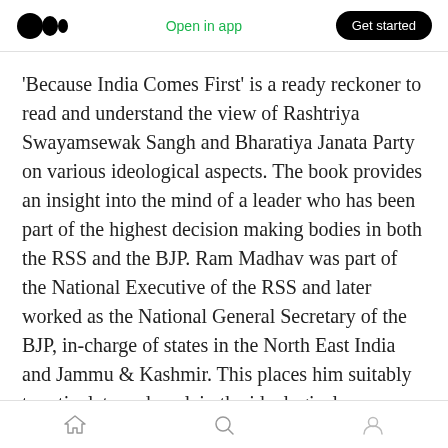Medium logo | Open in app | Get started
‘Because India Comes First’ is a ready reckoner to read and understand the view of Rashtriya Swayamsewak Sangh and Bharatiya Janata Party on various ideological aspects. The book provides an insight into the mind of a leader who has been part of the highest decision making bodies in both the RSS and the BJP. Ram Madhav was part of the National Executive of the RSS and later worked as the National General Secretary of the BJP, in-charge of states in the North East India and Jammu & Kashmir. This places him suitably to articulate and explain the ideological
Home | Search | Profile